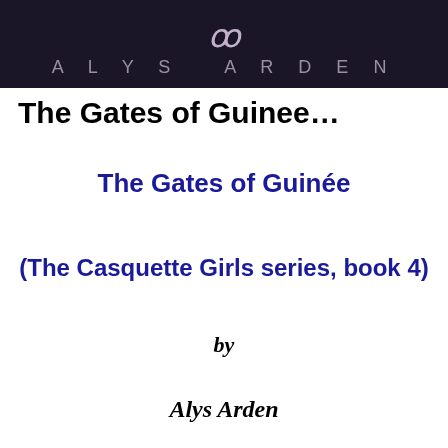[Figure (illustration): Book cover top portion showing dark purple/navy background with the text 'ALYS ARDEN' in spaced letters and a decorative symbol above]
The Gates of Guinee...
The Gates of Guinée
(The Casquette Girls series, book 4)
by
Alys Arden